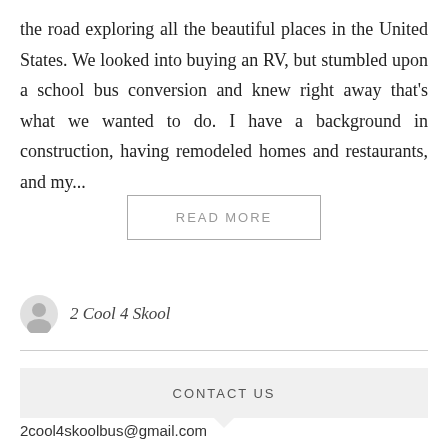the road exploring all the beautiful places in the United States. We looked into buying an RV, but stumbled upon a school bus conversion and knew right away that's what we wanted to do. I have a background in construction, having remodeled homes and restaurants, and my...
READ MORE
2 Cool 4 Skool
CONTACT US
2cool4skoolbus@gmail.com